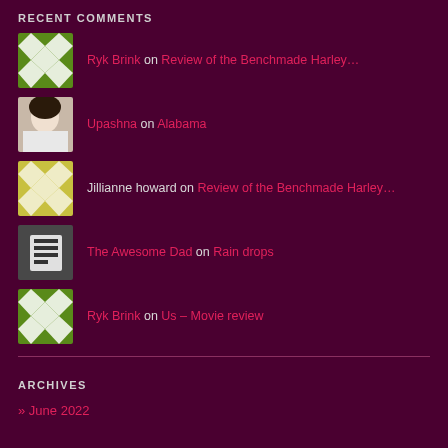RECENT COMMENTS
Ryk Brink on Review of the Benchmade Harley…
Upashna on Alabama
Jillianne howard on Review of the Benchmade Harley…
The Awesome Dad on Rain drops
Ryk Brink on Us – Movie review
ARCHIVES
» June 2022